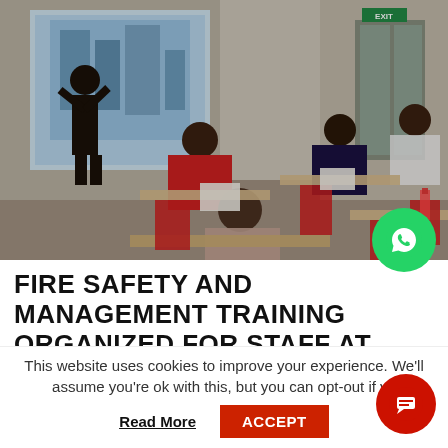[Figure (photo): A classroom training session with a presenter standing at the front near a projection screen, and several attendees seated at desks with red chairs.]
FIRE SAFETY AND MANAGEMENT TRAINING ORGANIZED FOR STAFF AT LANCASTER UNIVERSITY GHANA
This website uses cookies to improve your experience. We'll assume you're ok with this, but you can opt-out if yo
Read More
ACCEPT